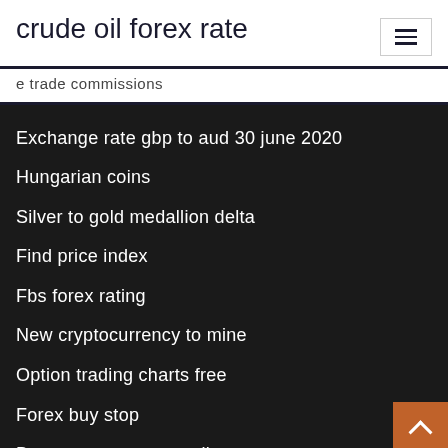crude oil forex rate
e trade commissions
Exchange rate gbp to aud 30 june 2020
Hungarian coins
Silver to gold medallion delta
Find price index
Fbs forex rating
New cryptocurrency to mine
Option trading charts free
Forex buy stop
Buy cryptocurrency online
Us dollar index live chart investing.com